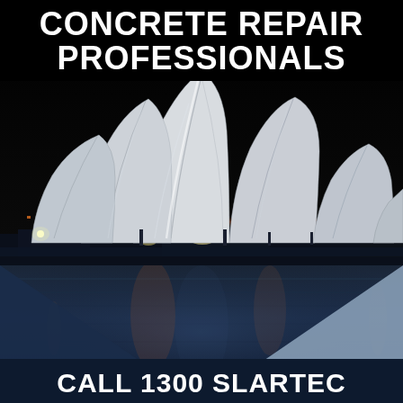CONCRETE REPAIR PROFESSIONALS
[Figure (photo): Night photograph of Sydney Opera House with illuminated white shell-shaped roofs reflected in harbor water, dark sky background]
CALL 1300 SLARTEC